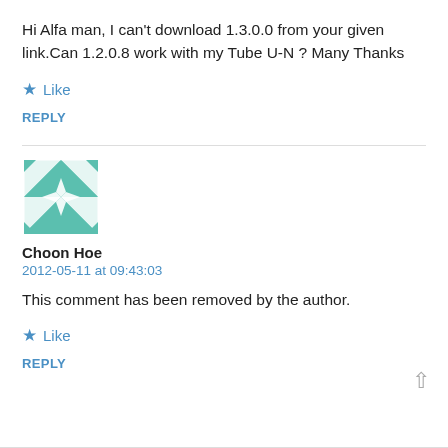Hi Alfa man, I can't download 1.3.0.0 from your given link.Can 1.2.0.8 work with my Tube U-N ? Many Thanks
★ Like
REPLY
[Figure (illustration): Decorative avatar image with teal/white geometric quilt pattern]
Choon Hoe
2012-05-11 at 09:43:03
This comment has been removed by the author.
★ Like
REPLY